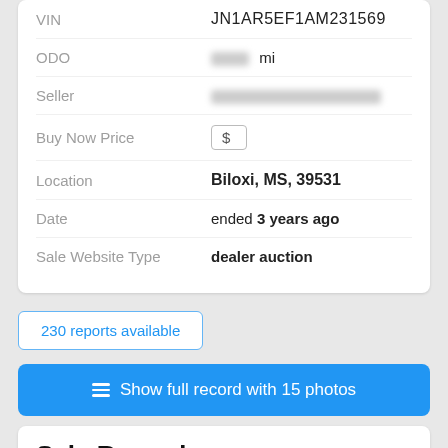| Field | Value |
| --- | --- |
| VIN | JN1AR5EF1AM231569 |
| ODO | [blurred] mi |
| Seller | [blurred] |
| Buy Now Price | $ |
| Location | Biloxi, MS, 39531 |
| Date | ended 3 years ago |
| Sale Website Type | dealer auction |
230 reports available
Show full record with 15 photos
Sale Record
JN1AR5EF1AM231569-2010-nissan-gt-r-0